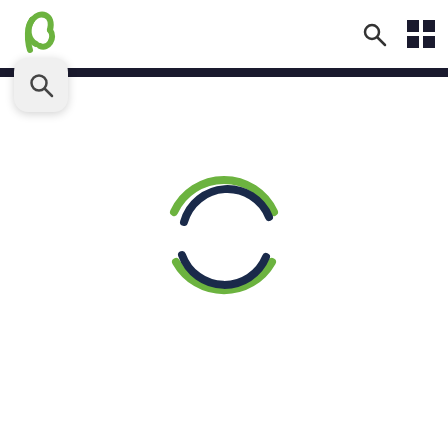[Figure (logo): Green stylized leaf/plant logo icon in top left of navigation header]
[Figure (other): Navigation header with search icon and grid/menu icon on the right]
[Figure (other): Search icon bubble below the black header bar on the left side]
[Figure (other): Loading spinner animation composed of two arc pairs: upper arc (green outer, dark navy inner) and lower arc (green outer, dark navy inner), centered in the page]